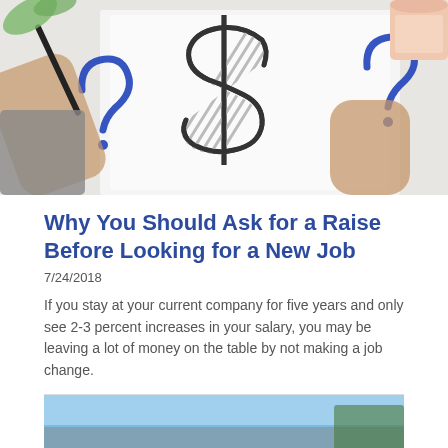[Figure (photo): Person drawing a dollar sign on paper with question marks around it; coffee cup visible in top right corner]
Why You Should Ask for a Raise Before Looking for a New Job
7/24/2018
If you stay at your current company for five years and only see 2-3 percent increases in your salary, you may be leaving a lot of money on the table by not making a job change.
[Figure (photo): Partial view of a second article image — appears to show sky and a road or car scene]